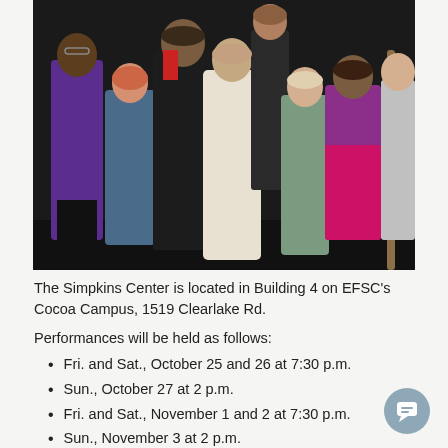[Figure (photo): Group of theater students in costume on a dark stage, including colorful costumes such as a purple cardigan, a floral dress, a white lace gown, a sage green dress, and a bright pink/purple outfit with sunglasses; one person holds a wooden staff]
The Simpkins Center is located in Building 4 on EFSC's Cocoa Campus, 1519 Clearlake Rd.
Performances will be held as follows:
Fri. and Sat., October 25 and 26 at 7:30 p.m.
Sun., October 27 at 2 p.m.
Fri. and Sat., November 1 and 2 at 7:30 p.m.
Sun., November 3 at 2 p.m.
In this well-known Greek play, Thebes' civil war has ended and